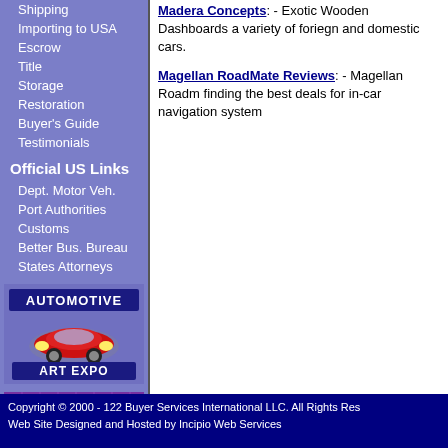Shipping
Importing to USA
Escrow
Title
Storage
Restoration
Buyer's Guide
Testimonials
Official US Links
Dept. Motor Veh.
Port Authorities
Customs
Better Bus. Bureau
States Attorneys
[Figure (logo): Automotive Art Expo banner with red sports car]
[Figure (logo): Created by banner with purple grid background]
Madera Concepts: - Exotic Wooden Dashboards a variety of foriegn and domestic cars.
Magellan RoadMate Reviews: - Magellan Roadm finding the best deals for in-car navigation system
Copyright © 2000 - 122 Buyer Services International LLC. All Rights Res Web Site Designed and Hosted by Incipio Web Services